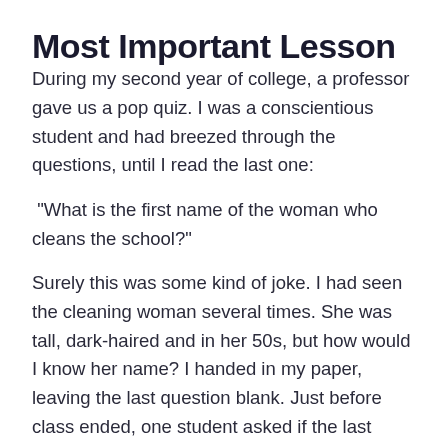Most Important Lesson
During my second year of college, a professor gave us a pop quiz. I was a conscientious student and had breezed through the questions, until I read the last one:
"What is the first name of the woman who cleans the school?"
Surely this was some kind of joke. I had seen the cleaning woman several times. She was tall, dark-haired and in her 50s, but how would I know her name? I handed in my paper, leaving the last question blank. Just before class ended, one student asked if the last question would count toward our quiz grade. “Absolutely,” said the professor. “In